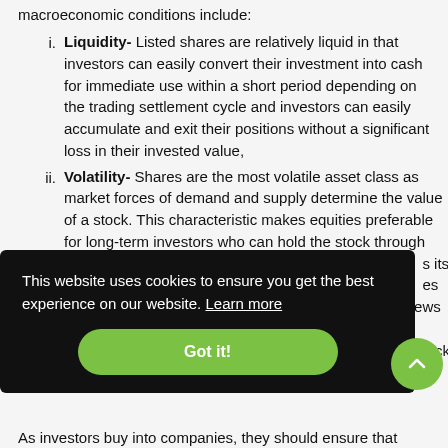macroeconomic conditions include:
Liquidity- Listed shares are relatively liquid in that investors can easily convert their investment into cash for immediate use within a short period depending on the trading settlement cycle and investors can easily accumulate and exit their positions without a significant loss in their invested value,
Volatility- Shares are the most volatile asset class as market forces of demand and supply determine the value of a stock. This characteristic makes equities preferable for long-term investors who can hold the stock through its ...
This website uses cookies to ensure you get the best experience on our website. Learn more
Got it!
As investors buy into companies, they should ensure that